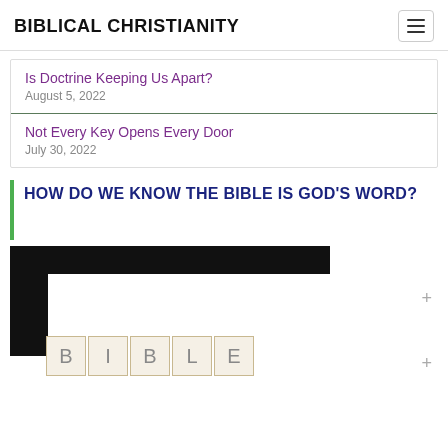BIBLICAL CHRISTIANITY
Is Doctrine Keeping Us Apart? — August 5, 2022
Not Every Key Opens Every Door — July 30, 2022
HOW DO WE KNOW THE BIBLE IS GOD'S WORD?
[Figure (illustration): Book cover image with black L-shaped border and scrabble-style letter tiles spelling BIBLE at the bottom]